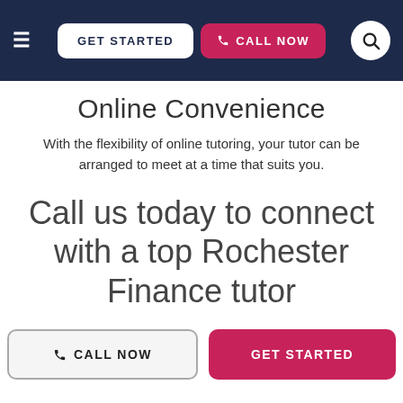GET STARTED  CALL NOW
Online Convenience
With the flexibility of online tutoring, your tutor can be arranged to meet at a time that suits you.
Call us today to connect with a top Rochester Finance tutor
CALL NOW  GET STARTED